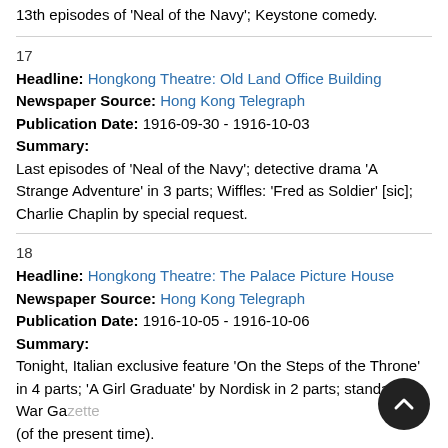13th episodes of 'Neal of the Navy'; Keystone comedy.
17
Headline: Hongkong Theatre: Old Land Office Building
Newspaper Source: Hong Kong Telegraph
Publication Date: 1916-09-30 - 1916-10-03
Summary:
Last episodes of 'Neal of the Navy'; detective drama 'A Strange Adventure' in 3 parts; Wiffles: 'Fred as Soldier' [sic]; Charlie Chaplin by special request.
18
Headline: Hongkong Theatre: The Palace Picture House
Newspaper Source: Hong Kong Telegraph
Publication Date: 1916-10-05 - 1916-10-06
Summary:
Tonight, Italian exclusive feature 'On the Steps of the Throne' in 4 parts; 'A Girl Graduate' by Nordisk in 2 parts; standard War Gazette (of the present time).